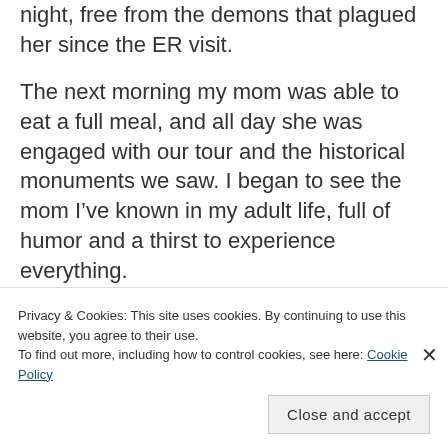night, free from the demons that plagued her since the ER visit.
The next morning my mom was able to eat a full meal, and all day she was engaged with our tour and the historical monuments we saw. I began to see the mom I've known in my adult life, full of humor and a thirst to experience everything.
[Figure (photo): Partial view of an outdoor photo showing sky, foliage, and a warm-toned subject, partially obscured by cookie consent banner.]
Privacy & Cookies: This site uses cookies. By continuing to use this website, you agree to their use.
To find out more, including how to control cookies, see here: Cookie Policy